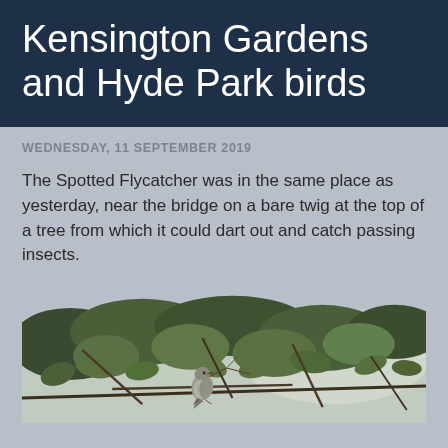Kensington Gardens and Hyde Park birds
WEDNESDAY, 11 SEPTEMBER 2019
The Spotted Flycatcher was in the same place as yesterday, near the bridge on a bare twig at the top of a tree from which it could dart out and catch passing insects.
[Figure (photo): A Spotted Flycatcher bird perched on a bare twig among green leaves and branches, with a pale sky background.]